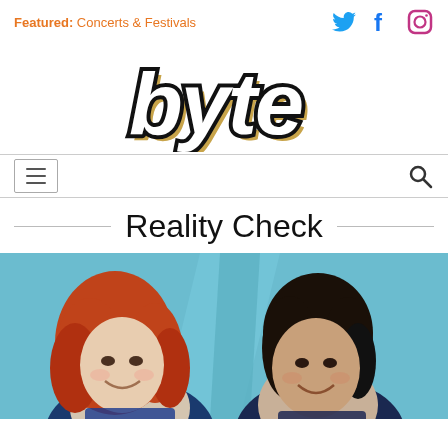Featured: Concerts & Festivals
[Figure (logo): byte logo in stylized script font with black outline and gold/tan shadow effect]
[Figure (infographic): Navigation bar with hamburger menu icon on left and search icon on right]
Reality Check
[Figure (photo): Two women in superhero/sci-fi costumes. Left woman has curly red/auburn hair, right woman has dark hair. Both are smiling against a blue futuristic background.]